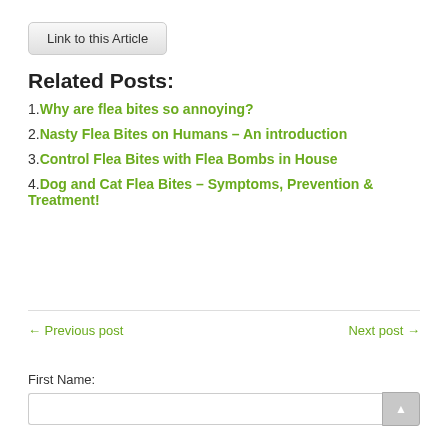Link to this Article
Related Posts:
1. Why are flea bites so annoying?
2. Nasty Flea Bites on Humans – An introduction
3. Control Flea Bites with Flea Bombs in House
4. Dog and Cat Flea Bites – Symptoms, Prevention & Treatment!
← Previous post
Next post →
First Name: